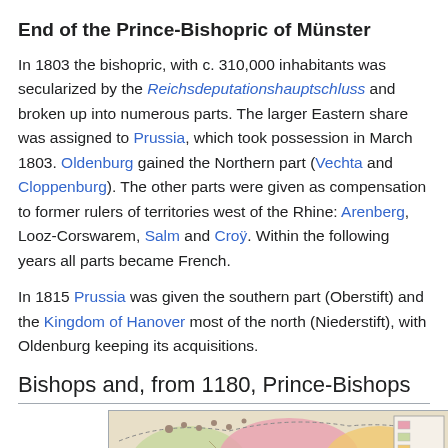End of the Prince-Bishopric of Münster
In 1803 the bishopric, with c. 310,000 inhabitants was secularized by the Reichsdeputationshauptschluss and broken up into numerous parts. The larger Eastern share was assigned to Prussia, which took possession in March 1803. Oldenburg gained the Northern part (Vechta and Cloppenburg). The other parts were given as compensation to former rulers of territories west of the Rhine: Arenberg, Looz-Corswarem, Salm and Croÿ. Within the following years all parts became French.
In 1815 Prussia was given the southern part (Oberstift) and the Kingdom of Hanover most of the north (Niederstift), with Oldenburg keeping its acquisitions.
Bishops and, from 1180, Prince-Bishops
[Figure (map): Historical map of the Prince-Bishopric of Münster region, showing colored territories.]